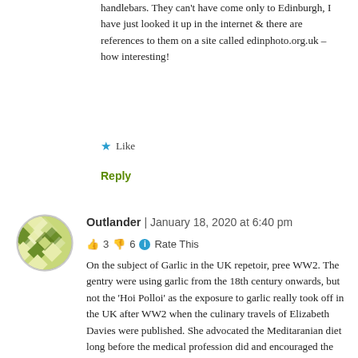handlebars. They can't have come only to Edinburgh, I have just looked it up in the internet & there are references to them on a site called edinphoto.org.uk – how interesting!
★ Like
Reply
[Figure (illustration): User avatar: circular green/yellow geometric diamond pattern icon]
Outlander | January 18, 2020 at 6:40 pm
👍 3 👎 6 ℹ Rate This
On the subject of Garlic in the UK repetoir, pree WW2. The gentry were using garlic from the 18th century onwards, but not the 'Hoi Polloi' as the exposure to garlic really took off in the UK after WW2 when the culinary travels of Elizabeth Davies were published. She advocated the Meditaranian diet long before the medical profession did and encouraged the use of garlic.